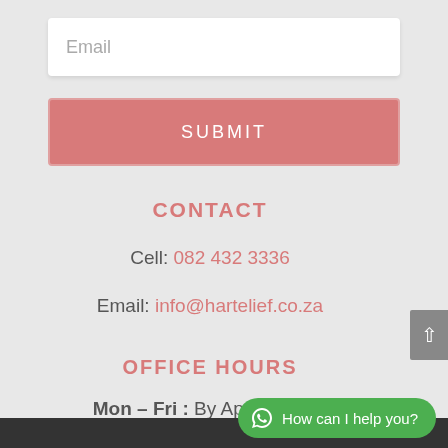Email
SUBMIT
CONTACT
Cell: 082 432 3336
Email: info@hartelief.co.za
OFFICE HOURS
Mon – Fri : By Appointment
How can I help you?